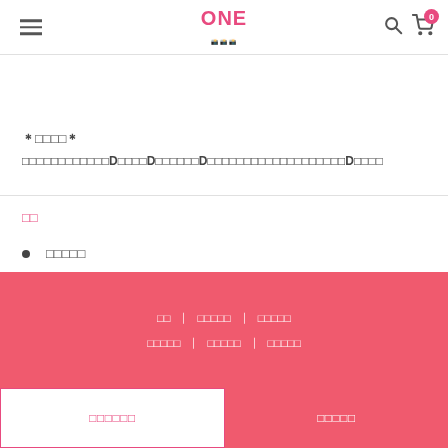ONE (navigation header with hamburger menu, logo, search and cart icons)
＊□□□□＊ □□□□□□□□□□□□D□□□□D□□□□□□D□□□□□□□□□□□□□□□□□□□D□□□□
□□
□□□□□
□□  |  □□□□□  |  □□□□□   □□□□□  |  □□□□□  |  □□□□□
□□□□□□   □□□□□